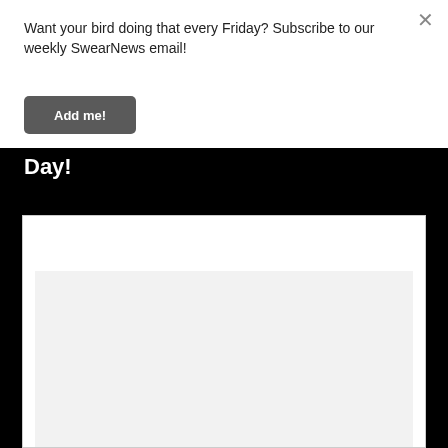Want your bird doing that every Friday? Subscribe to our weekly SwearNews email!
Add me!
Day!
[Figure (screenshot): White card/panel with light gray inner content area, shown on a black background]